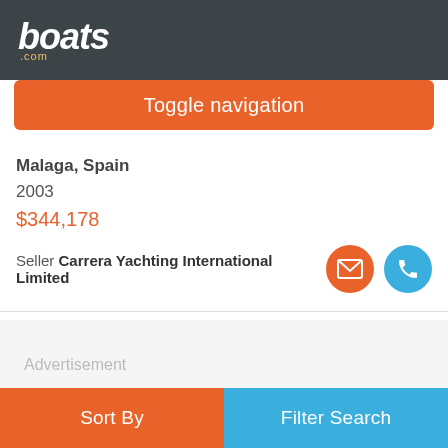boats.com
Toggle navigation
Malaga, Spain
2003
$344,178
Seller Carrera Yachting International Limited
Advertisement
Sort By | Filter Search